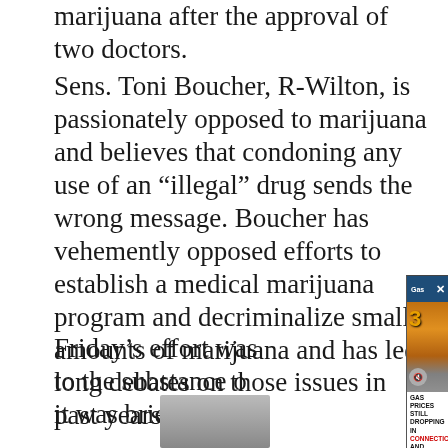marijuana after the approval of two doctors.
Sens. Toni Boucher, R-Wilton, is passionately opposed to marijuana and believes that condoning any use of an “illegal” drug sends the wrong message. Boucher has vehemently opposed efforts to establish a medical marijuana program and decriminalize small amounts of marijuana and has led long debates on those issues in past years.
Friday’s effort was [partially obscured] to the substance o[f] it was briefer than[...]
[Figure (screenshot): Video popup overlay showing a gas station sign with 'Gas Prices Still Dropping In Connec...' headline and a close button. Below shows a gas station photo with a '3 cents' savings sign showing REGULAR, EXTRA, SUPREME credit prices. Text overlay reads: 'GAS PRICES STILL DROPPING IN CONNECTICUT AND ACROSS THE US | CT NEWS JUNKIE' with CONNECTICUT in red.]